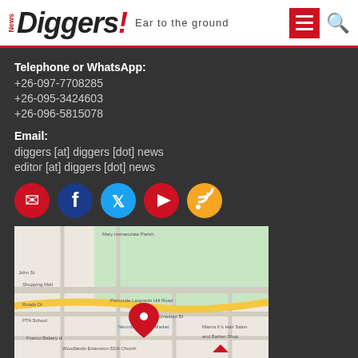News Diggers! Ear to the ground
Telephone or WhatsApp:
+26-097-7708285
+26-095-3424603
+26-096-5815078
Email:
diggers [at] diggers [dot] news
editor [at] diggers [dot] news
[Figure (map): Google map showing location of Diggers News office in Lusaka, Zambia with a red pin marker]
[Figure (infographic): Social media icons: email (red), Facebook (dark blue), Twitter (light blue), YouTube (red), RSS (orange)]